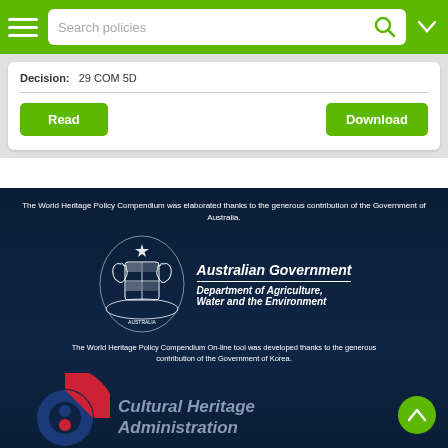Search policies
Decision: 29 COM 5D
Read | Download
The World Heritage Policy Compendium was elaborated thanks to the generous contribution of the Government of Australia.
[Figure (logo): Australian Government coat of arms logo with kangaroo and emu]
Australian Government
Department of Agriculture, Water and the Environment
The World Heritage Policy Compendium On-line tool was developed thanks to the generous contribution of the Government of Korea.
[Figure (logo): Cultural Heritage Administration of Korea logo - red and blue circular emblem]
Cultural Heritage Administration